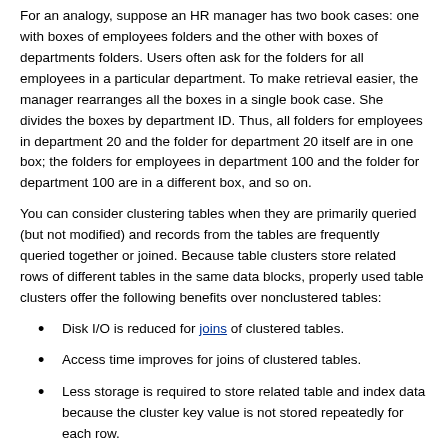For an analogy, suppose an HR manager has two book cases: one with boxes of employees folders and the other with boxes of departments folders. Users often ask for the folders for all employees in a particular department. To make retrieval easier, the manager rearranges all the boxes in a single book case. She divides the boxes by department ID. Thus, all folders for employees in department 20 and the folder for department 20 itself are in one box; the folders for employees in department 100 and the folder for department 100 are in a different box, and so on.
You can consider clustering tables when they are primarily queried (but not modified) and records from the tables are frequently queried together or joined. Because table clusters store related rows of different tables in the same data blocks, properly used table clusters offer the following benefits over nonclustered tables:
Disk I/O is reduced for joins of clustered tables.
Access time improves for joins of clustered tables.
Less storage is required to store related table and index data because the cluster key value is not stored repeatedly for each row.
Typically, clustering tables is not appropriate in the following situations: